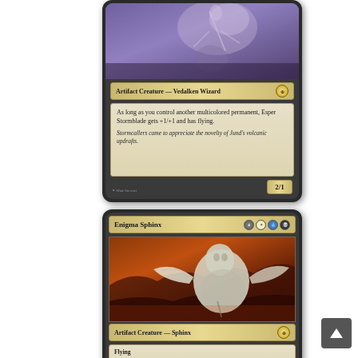[Figure (photo): Magic: The Gathering card - Esper Stormblade (lower portion visible). Shows 'Artifact Creature — Vedalken Wizard' type line, rules text: 'As long as you control another multicolored permanent, Esper Stormblade gets +1/+1 and has flying.' Flavor text: 'Stormcallers came to appreciate the novelty of Jund's volcanic updrafts.' Power/toughness 2/1. Art by Matt Stewart.]
[Figure (photo): Magic: The Gathering card - Enigma Sphinx. Mana cost 4 white blue black. Art shows a metallic sphinx creature on rocky terrain with fiery background. Type line: 'Artifact Creature — Sphinx'. Rules text: 'Flying. When Enigma Sphinx is put into your graveyard from play, put it into your library third from...']